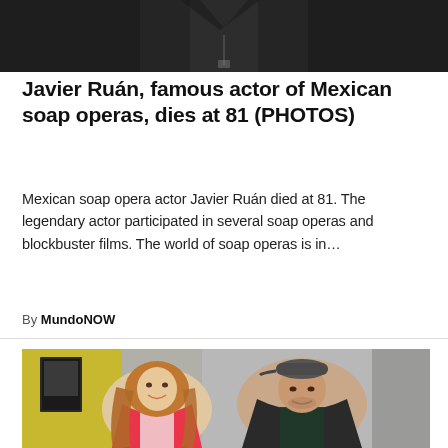[Figure (photo): Partial photo of a person in a black leather jacket, cropped to show only torso/neck area, dark background]
Javier Ruán, famous actor of Mexican soap operas, dies at 81 (PHOTOS)
Mexican soap opera actor Javier Ruán died at 81. The legendary actor participated in several soap operas and blockbuster films. The world of soap operas is in...
By MundoNOW
[Figure (photo): Photo of a smiling woman with long auburn hair wearing a pink blazer and white top, standing next to a man wearing a black cap and dark jacket, in front of a yellow wall with a framed picture]